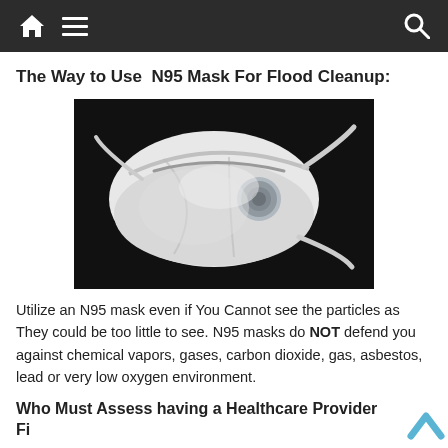Navigation bar with home, menu, and search icons
The Way to Use  N95 Mask For Flood Cleanup:
[Figure (photo): N95 respirator mask on dark background, white mask with exhalation valve and elastic straps]
Utilize an N95 mask even if You Cannot see the particles as They could be too little to see. N95 masks do NOT defend you against chemical vapors, gases, carbon dioxide, gas, asbestos, lead or very low oxygen environment.
Who Must Assess having a Healthcare Provider Fi...